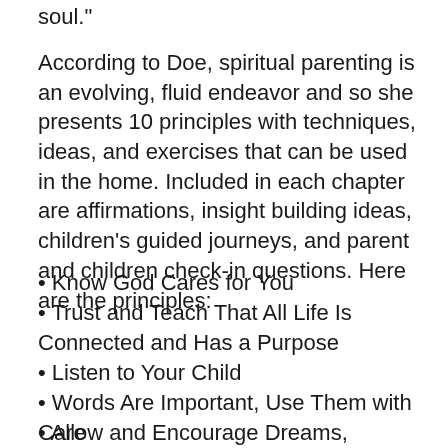soul."
According to Doe, spiritual parenting is an evolving, fluid endeavor and so she presents 10 principles with techniques, ideas, and exercises that can be used in the home. Included in each chapter are affirmations, insight building ideas, children's guided journeys, and parent and children check-in questions. Here are the principles:
Know God Cares for You
Trust and Teach That All Life Is Connected and Has a Purpose
Listen to Your Child
Words Are Important, Use Them with Care
Allow and Encourage Dreams, Wishes, Hopes
Add Magic to the Ordinary